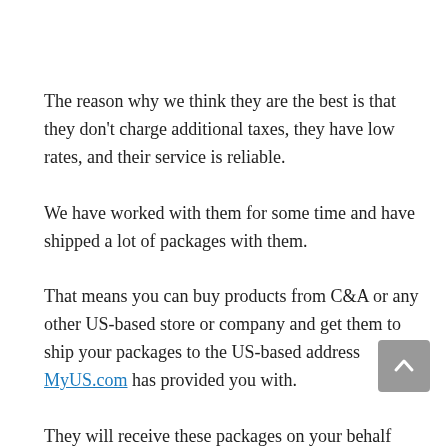The reason why we think they are the best is that they don't charge additional taxes, they have low rates, and their service is reliable.
We have worked with them for some time and have shipped a lot of packages with them.
That means you can buy products from C&A or any other US-based store or company and get them to ship your packages to the US-based address MyUS.com has provided you with.
They will receive these packages on your behalf and once you're ready, they can then ship these